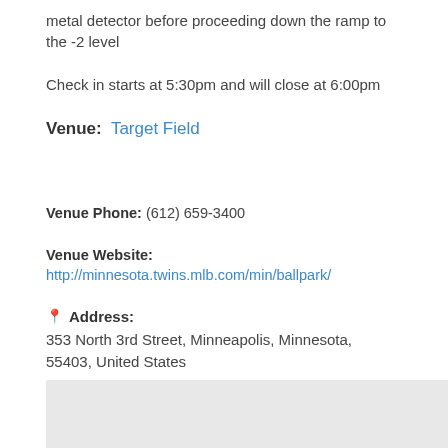metal detector before proceeding down the ramp to the -2 level
Check in starts at 5:30pm and will close at 6:00pm
Venue: Target Field
Venue Phone: (612) 659-3400
Venue Website: http://minnesota.twins.mlb.com/min/ballpark/
Address: 353 North 3rd Street, Minneapolis, Minnesota, 55403, United States
[Figure (map): Map area showing venue location, light gray background]